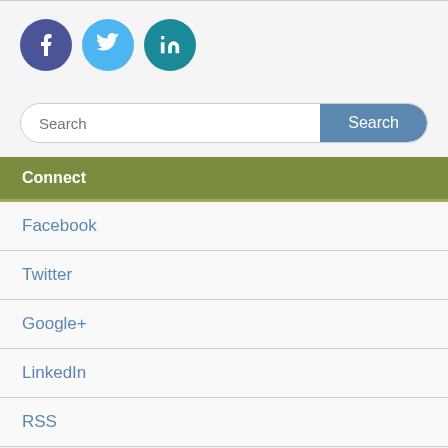[Figure (infographic): Three social media icon circles: Facebook (dark blue-purple), Twitter (light blue), LinkedIn (teal), each with white letter/icon]
[Figure (infographic): Search bar with placeholder text 'Search' and a blue 'Search' button on the right]
Connect
Facebook
Twitter
Google+
LinkedIn
RSS